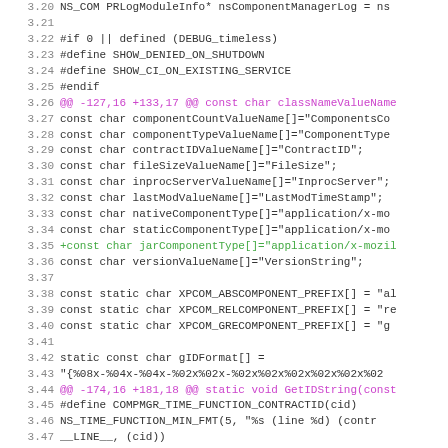[Figure (screenshot): Syntax-highlighted code diff showing C++ source lines 3.20–3.52 with line numbers, preprocessor directives in gray, diff hunk headers in magenta, added lines in green, and regular code in dark gray/black monospace font.]